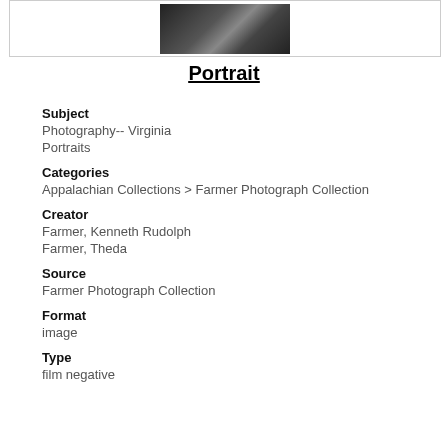[Figure (photo): Black and white photograph of a person, partial view, top portion of image visible]
Portrait
Subject
Photography-- Virginia
Portraits
Categories
Appalachian Collections > Farmer Photograph Collection
Creator
Farmer, Kenneth Rudolph
Farmer, Theda
Source
Farmer Photograph Collection
Format
image
Type
film negative